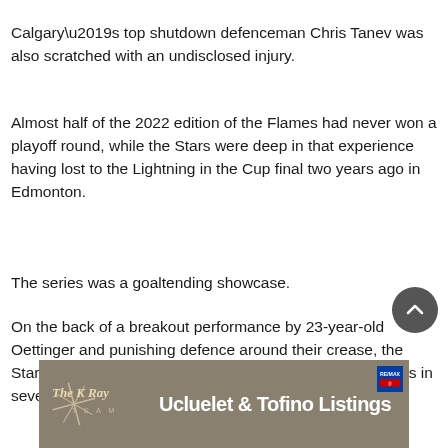Calgary’s top shutdown defenceman Chris Tanev was also scratched with an undisclosed injury.
Almost half of the 2022 edition of the Flames had never won a playoff round, while the Stars were deep in that experience having lost to the Lightning in the Cup final two years ago in Edmonton.
The series was a goaltending showcase.
On the back of a breakout performance by 23-year-old Oettinger and punishing defence around their crease, the Stars held a high-scoring offence to 10 even-strength goals in seven games.
[Figure (advertisement): Ad banner for 'The K Ray Team' showing Ucluelet & Tofino Listings with RE/MAX logo on a dark background with stylized text logo]